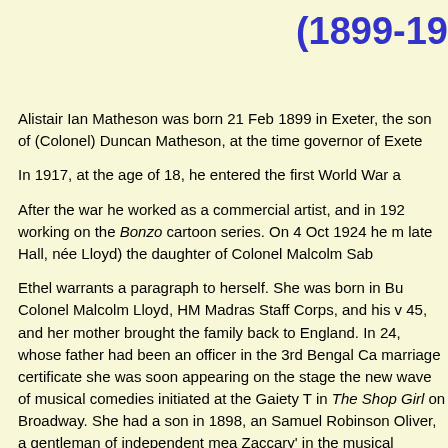(1899-19...
Alistair Ian Matheson was born 21 Feb 1899 in Exeter, the son of (Colonel) Duncan Matheson, at the time governor of Exete...
In 1917, at the age of 18, he entered the first World War a...
After the war he worked as a commercial artist, and in 192... working on the Bonzo cartoon series. On 4 Oct 1924 he m... late Hall, née Lloyd) the daughter of Colonel Malcolm Sab...
Ethel warrants a paragraph to herself. She was born in Bu... Colonel Malcolm Lloyd, HM Madras Staff Corps, and his v... 45, and her mother brought the family back to England. In... 24, whose father had been an officer in the 3rd Bengal Ca... marriage certificate she was soon appearing on the stage... the new wave of musical comedies initiated at the Gaiety T... in The Shop Girl on Broadway. She had a son in 1898, an... Samuel Robinson Oliver, a gentleman of independent mea... Zaccary' in the musical comedy The Orchid at the Gaiety T... remained in his custody when they divorced in 1912. She... Captain in the Norfolk Regiment, and their son was born s... John, but she had by now knocked 2 years off her admitte... married Matheson she avoided giving her age, merely ent... the certificate, but it would seem she claimed to be 44, kn... 50, twice Matheson's age. It was her final marriage and th... November 1967.